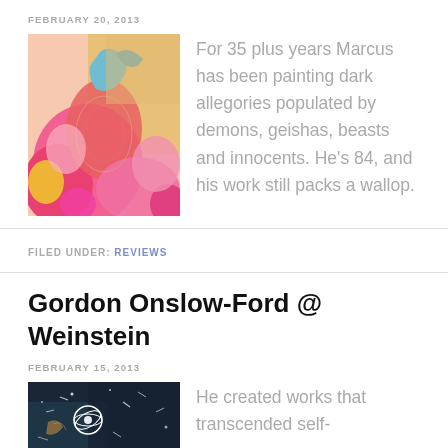FEBRUARY 20, 2013
[Figure (photo): Colorful abstract painting with pink, blue, and coral tones, showing stylized figures and a bird-like form]
For 35 plus years Marcus has been painting dark allegories populated by demons, geishas, beasts and innocents. He's 84, and his work still packs a wallop.
FILED UNDER: REVIEWS
Gordon Onslow-Ford @ Weinstein
FEBRUARY 15, 2013
[Figure (photo): Dark painting with white circular/astronomical shapes and organic forms on a dark blue/black background]
He created works that transcended self-